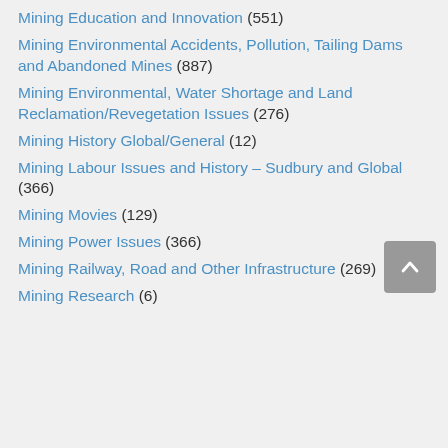Mining Education and Innovation (551)
Mining Environmental Accidents, Pollution, Tailing Dams and Abandoned Mines (887)
Mining Environmental, Water Shortage and Land Reclamation/Revegetation Issues (276)
Mining History Global/General (12)
Mining Labour Issues and History – Sudbury and Global (366)
Mining Movies (129)
Mining Power Issues (366)
Mining Railway, Road and Other Infrastructure (269)
Mining Research (6)